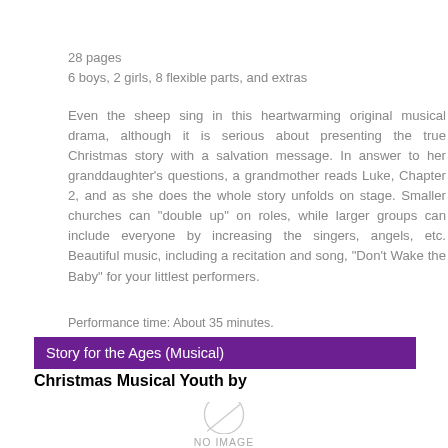28 pages
6 boys, 2 girls, 8 flexible parts, and extras
Even the sheep sing in this heartwarming original musical drama, although it is serious about presenting the true Christmas story with a salvation message. In answer to her granddaughter's questions, a grandmother reads Luke, Chapter 2, and as she does the whole story unfolds on stage. Smaller churches can "double up" on roles, while larger groups can include everyone by increasing the singers, angels, etc. Beautiful music, including a recitation and song, "Don't Wake the Baby" for your littlest performers.
Performance time: About 35 minutes.
Story for the Ages (Musical)
Christmas Musical Youth by
[Figure (other): No image placeholder with circular watermark logo and 'NO IMAGE' text]